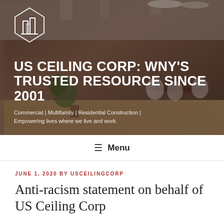[Figure (photo): Hero banner with office interior background, company logo (geometric building/shield icon in white), large white bold title text reading 'US CEILING CORP: WNY'S TRUSTED RESOURCE SINCE 2001', and subtitle 'Commercial | Multifamily | Residential Construction | Empowering lives where we live and work.']
≡ Menu
JUNE 1, 2020 BY USCEILINGCORP
Anti-racism statement on behalf of US Ceiling Corp